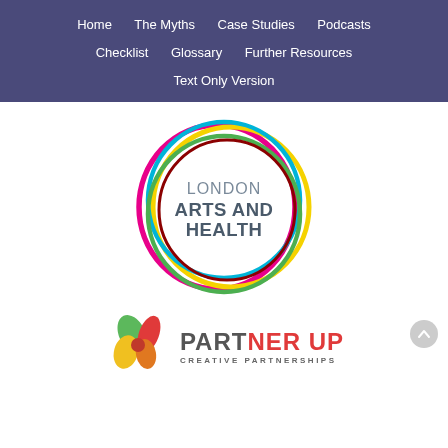Home   The Myths   Case Studies   Podcasts   Checklist   Glossary   Further Resources   Text Only Version
[Figure (logo): London Arts and Health circular logo with overlapping coloured rings (magenta, cyan, green, yellow, dark red) and bold grey text reading LONDON ARTS AND HEALTH in the centre]
[Figure (logo): Partner Up Creative Partnerships logo with a multi-petal flower icon in red, green, yellow colours and bold text PARTNER UP with CREATIVE PARTNERSHIPS subtitle]